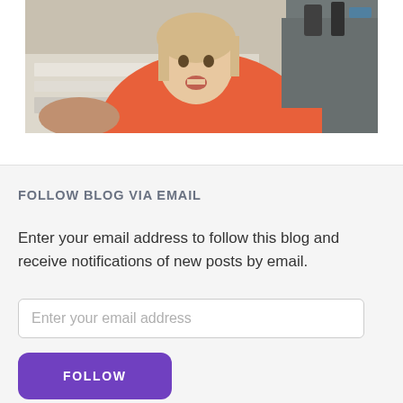[Figure (photo): A young girl in an orange shirt sitting with an adult in a grey sweater at a desk with papers and office items]
FOLLOW BLOG VIA EMAIL
Enter your email address to follow this blog and receive notifications of new posts by email.
Enter your email address
FOLLOW